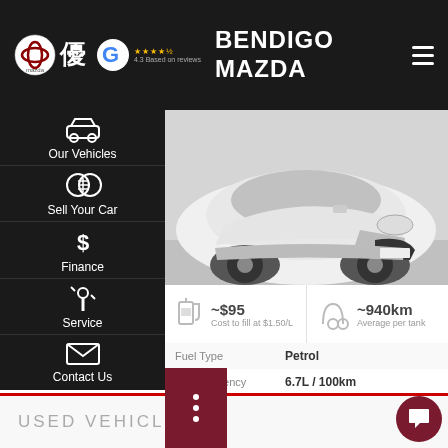BENDIGO MAZDA
[Figure (screenshot): Bendigo Mazda dealership website screenshot showing a used white Mitsubishi Outlander SUV listing with navigation sidebar, fuel cost (~$95), range (~940km), specs including Petrol, 6.7L/100km, Automatic, 54,555 kms, and a 'USED VEHICLE' label at the bottom.]
~$95
Cost to fill at $1.50/L
~940km
Average per tank
| Type | Value |
| --- | --- |
| Fuel Type | Petrol |
| Fuel Efficiency | 6.7L / 100km |
| Transmission | Automatic |
| Odometer | 54,555 kms |
USED VEHICLE